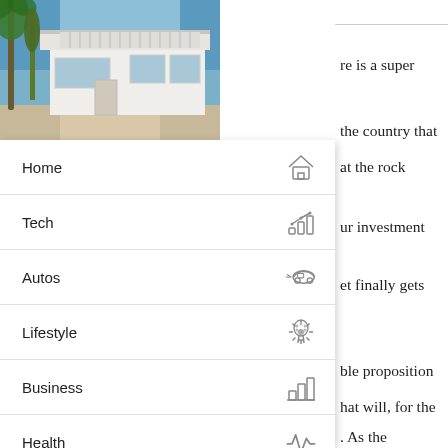[Figure (photo): Photo of a white villa/house exterior with palm trees and blue sky, taken from an angled view showing the front facade and driveway.]
Home
Tech
Autos
Lifestyle
Business
Health
Info
Business Directory
re is a super
the country that
at the rock
ur investment
et finally gets
ble proposition
hat will, for the
. As the